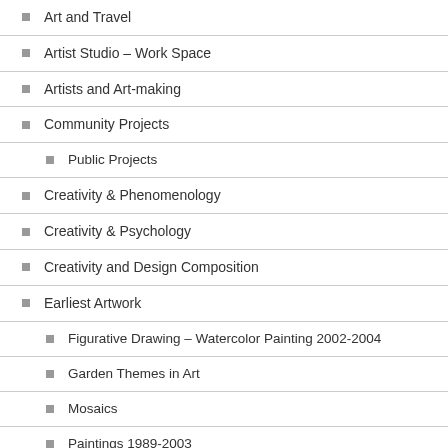Art and Travel
Artist Studio – Work Space
Artists and Art-making
Community Projects
Public Projects
Creativity & Phenomenology
Creativity & Psychology
Creativity and Design Composition
Earliest Artwork
Figurative Drawing – Watercolor Painting 2002-2004
Garden Themes in Art
Mosaics
Paintings 1989-2003
Exhibitions / Shows
Geometric Art
Geometric Forms and Colors